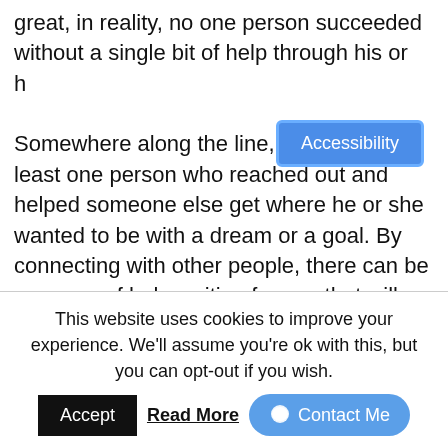great, in reality, no one person succeeded without a single bit of help through his or h... Somewhere along the line, there was at least one person who reached out and helped someone else get where he or she wanted to be with a dream or a goal. By connecting with other people, there can be a source of help waiting for you that will provide you with encouragement.

When you move forward, obstacles sometimes happen. Maybe not often – and maybe not huge, but it does happen. When you have a network of people – it can help you find a path through or around
[Figure (screenshot): Accessibility button - blue rounded rectangle button with white text 'Accessibility' and blue border]
This website uses cookies to improve your experience. We'll assume you're ok with this, but you can opt-out if you wish.
Accept   Read More   Contact Me